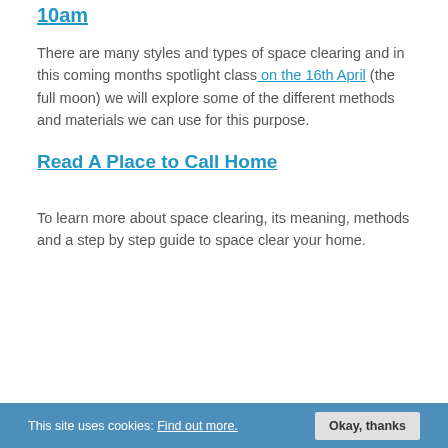10am
There are many styles and types of space clearing and in this coming months spotlight class on the 16th April (the full moon) we will explore some of the different methods and materials we can use for this purpose.
Read A Place to Call Home
To learn more about space clearing, its meaning, methods and a step by step guide to space clear your home.
This site uses cookies: Find out more. Okay, thanks